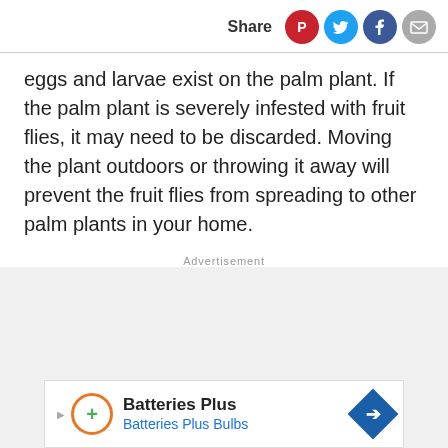Share
eggs and larvae exist on the palm plant. If the palm plant is severely infested with fruit flies, it may need to be discarded. Moving the plant outdoors or throwing it away will prevent the fruit flies from spreading to other palm plants in your home.
Advertisement
[Figure (other): Advertisement banner for Batteries Plus / Batteries Plus Bulbs with logo and navigation arrow icon]